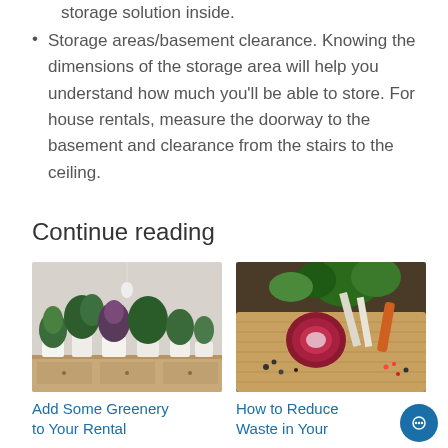storage solution inside.
Storage areas/basement clearance. Knowing the dimensions of the storage area will help you understand how much you'll be able to store. For house rentals, measure the doorway to the basement and clearance from the stairs to the ceiling.
Continue reading
[Figure (photo): Potted green plants arranged on a white wooden dresser against a white wall]
Add Some Greenery to Your Rental
[Figure (photo): Fresh vegetables including red onion, greens, carrots and scattered peppercorns on a wooden cutting board]
How to Reduce Waste in Your